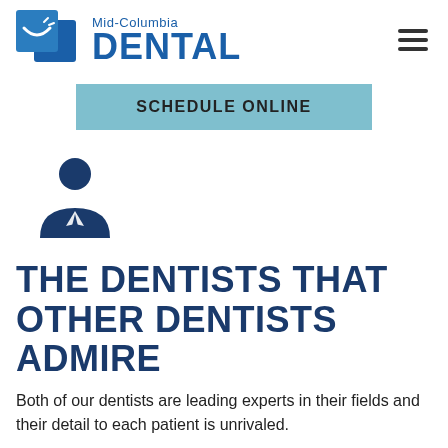[Figure (logo): Mid-Columbia Dental logo with blue square icons and text]
[Figure (other): Hamburger menu icon (three horizontal lines)]
SCHEDULE ONLINE
[Figure (illustration): Blue person/dentist silhouette icon with suit and tie]
THE DENTISTS THAT OTHER DENTISTS ADMIRE
Both of our dentists are leading experts in their fields and their detail to each patient is unrivaled.